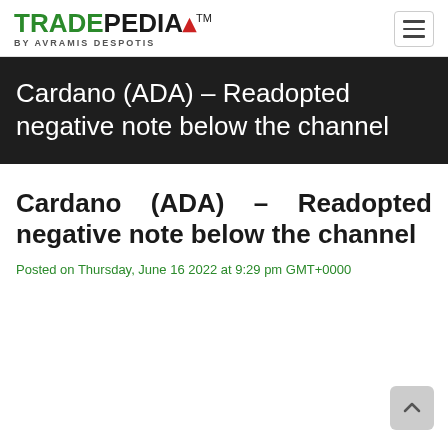TRADEPEDIA™ BY AVRAMIS DESPOTIS
Cardano (ADA) – Readopted negative note below the channel
Cardano (ADA) – Readopted negative note below the channel
Posted on Thursday, June 16 2022 at 9:29 pm GMT+0000